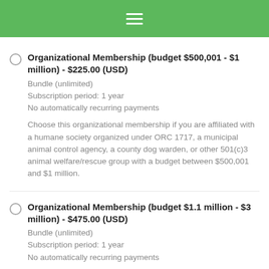Navigation menu
Organizational Membership (budget $500,001 - $1 million) - $225.00 (USD)
Bundle (unlimited)
Subscription period: 1 year
No automatically recurring payments
Choose this organizational membership if you are affiliated with a humane society organized under ORC 1717, a municipal animal control agency, a county dog warden, or other 501(c)3 animal welfare/rescue group with a budget between $500,001 and $1 million.
Organizational Membership (budget $1.1 million - $3 million) - $475.00 (USD)
Bundle (unlimited)
Subscription period: 1 year
No automatically recurring payments
Choose this organizational membership if you are affiliated with a humane society organized under ORC 1717, a municipal animal control agency, a county dog warden, or other 501(c)3 animal welfare/rescue group with a budget between $1 million and $3 million.